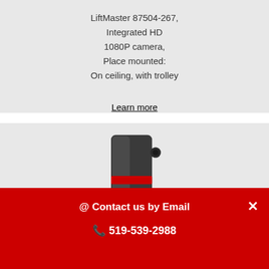LiftMaster 87504-267, Integrated HD 1080P camera, Place mounted: On ceiling, with trolley
Learn more
[Figure (photo): LiftMaster garage door opener unit, dark grey/black colored, mounted vertically, with a red accent strip near the middle]
@ Contact us by Email
519-539-2988